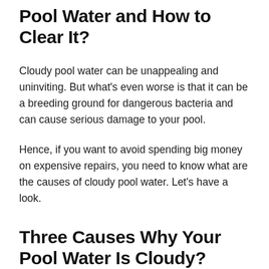Pool Water and How to Clear It?
Cloudy pool water can be unappealing and uninviting. But what's even worse is that it can be a breeding ground for dangerous bacteria and can cause serious damage to your pool.
Hence, if you want to avoid spending big money on expensive repairs, you need to know what are the causes of cloudy pool water. Let's have a look.
Three Causes Why Your Pool Water Is Cloudy?
Generally, pool water turns cloudy after some time. But if it has happened overnight, then there might